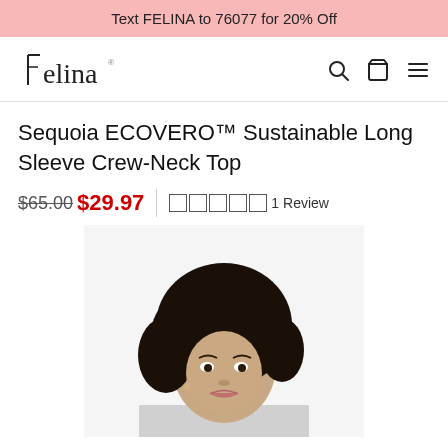Text FELINA to 76077 for 20% Off
[Figure (logo): Felina brand logo in serif/thin font style]
Sequoia ECOVERO™ Sustainable Long Sleeve Crew-Neck Top
$65.00 $29.97  ☆☆☆☆☆ 1 Review
[Figure (photo): Model with curly dark hair wearing a light gray long sleeve crew-neck top, cropped at upper chest/face, looking upward]